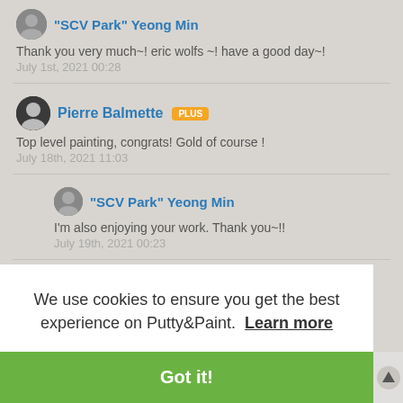"SCV Park" Yeong Min
Thank you very much~! eric wolfs ~! have a good day~!
July 1st, 2021 00:28
Pierre Balmette PLUS
Top level painting, congrats! Gold of course !
July 18th, 2021 11:03
"SCV Park" Yeong Min
I'm also enjoying your work. Thank you~!!
July 19th, 2021 00:23
We use cookies to ensure you get the best experience on Putty&Paint. Learn more
Got it!
Thank you very much~!!